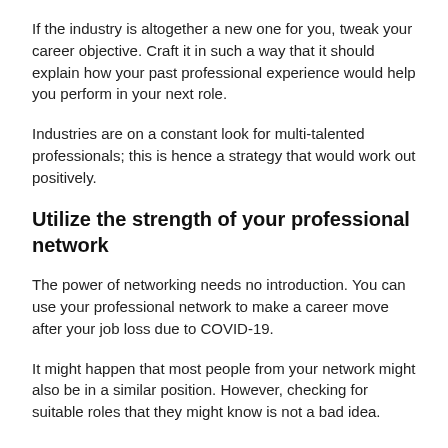If the industry is altogether a new one for you, tweak your career objective. Craft it in such a way that it should explain how your past professional experience would help you perform in your next role.
Industries are on a constant look for multi-talented professionals; this is hence a strategy that would work out positively.
Utilize the strength of your professional network
The power of networking needs no introduction. You can use your professional network to make a career move after your job loss due to COVID-19.
It might happen that most people from your network might also be in a similar position. However, checking for suitable roles that they might know is not a bad idea.